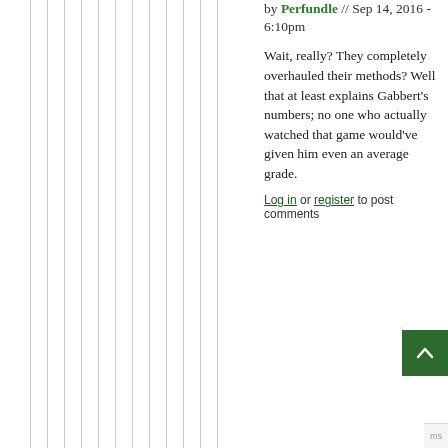by Perfundle // Sep 14, 2016 - 6:10pm
Wait, really? They completely overhauled their methods? Well that at least explains Gabbert's numbers; no one who actually watched that game would've given him even an average grade.
Log in or register to post comments